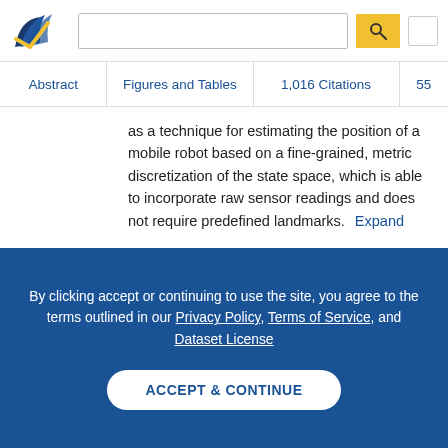Semantic Scholar — search bar with logo
Abstract | Figures and Tables | 1,016 Citations | 55
as a technique for estimating the position of a mobile robot based on a fine-grained, metric discretization of the state space, which is able to incorporate raw sensor readings and does not require predefined landmarks. Expand
23 Citations   PDF
By clicking accept or continuing to use the site, you agree to the terms outlined in our Privacy Policy, Terms of Service, and Dataset License
ACCEPT & CONTINUE